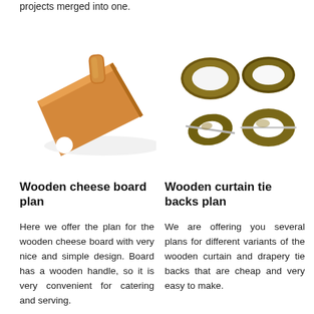projects merged into one.
[Figure (illustration): 3D render of a wooden cheese board with a handle]
[Figure (illustration): 3D render of wooden curtain tie backs / rings in various styles]
Wooden cheese board plan
Wooden curtain tie backs plan
Here we offer the plan for the wooden cheese board with very nice and simple design. Board has a wooden handle, so it is very convenient for catering and serving.
We are offering you several plans for different variants of the wooden curtain and drapery tie backs that are cheap and very easy to make.